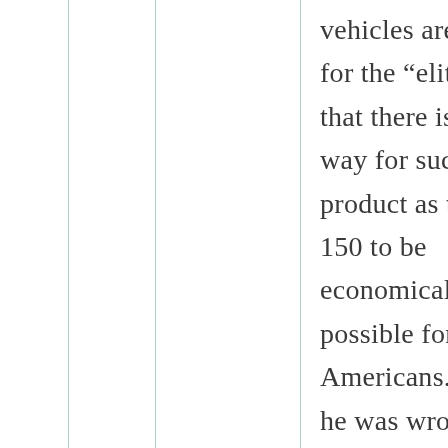vehicles are just for the “elite” and that there is no way for such a product as the F-150 to be economically possible for real Americans. Admit he was wrong?